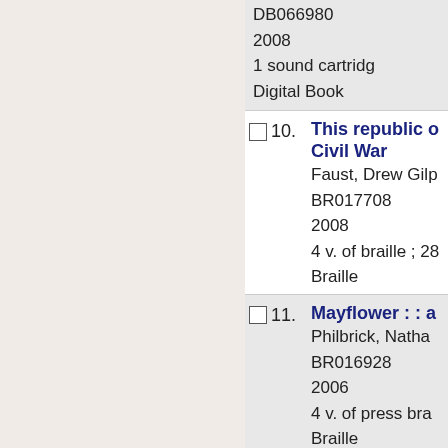DB066980
2008
1 sound cartridg...
Digital Book
10. This republic o... Civil War
Faust, Drew Gilp...
BR017708
2008
4 v. of braille ; 28...
Braille
11. Mayflower : : a
Philbrick, Natha...
BR016928
2006
4 v. of press bra...
Braille
12. Slavery and the...
Horton, James O...